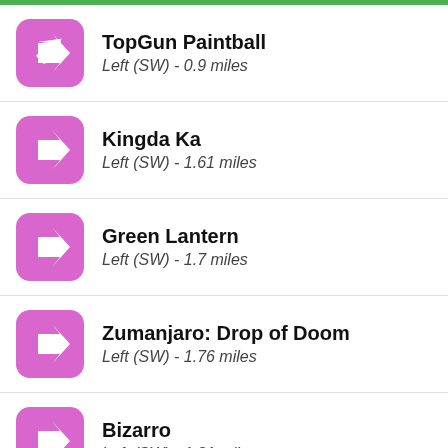TopGun Paintball
Left (SW) - 0.9 miles
Kingda Ka
Left (SW) - 1.61 miles
Green Lantern
Left (SW) - 1.7 miles
Zumanjaro: Drop of Doom
Left (SW) - 1.76 miles
Bizarro
Left (SW) - 1.81 miles